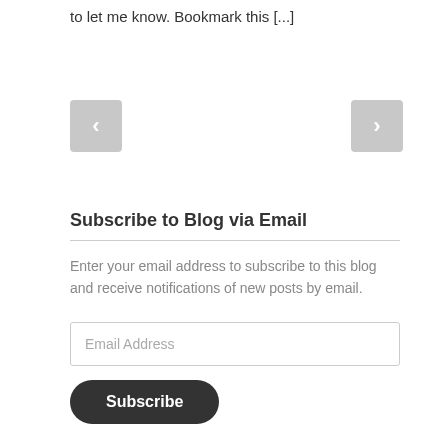to let me know. Bookmark this [...]
[Figure (other): Navigation previous and next buttons (grey rounded square buttons with left and right chevron arrows)]
Subscribe to Blog via Email
Enter your email address to subscribe to this blog and receive notifications of new posts by email.
Email Address
Subscribe